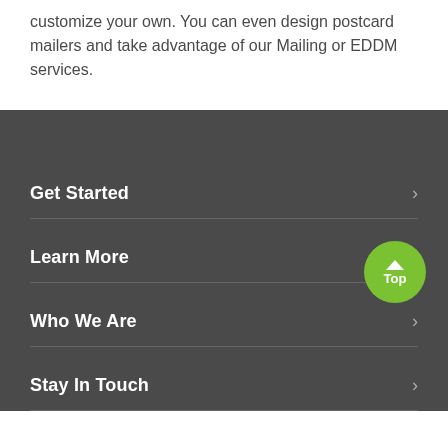customize your own. You can even design postcard mailers and take advantage of our Mailing or EDDM services.
Get Started
Learn More
Who We Are
Stay In Touch